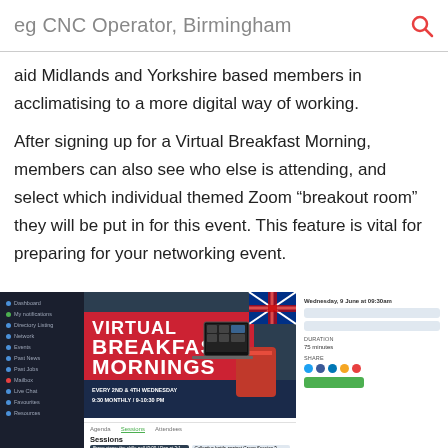eg CNC Operator, Birmingham
aid Midlands and Yorkshire based members in acclimatising to a more digital way of working.
After signing up for a Virtual Breakfast Morning, members can also see who else is attending, and select which individual themed Zoom “breakout room” they will be put in for this event. This feature is vital for preparing for your networking event.
[Figure (screenshot): Screenshot of a website showing a Virtual Breakfast Mornings event page with a dark left sidebar navigation, a promotional banner in the center with text 'VIRTUAL BREAKFAST MORNINGS', and event details panel on the right showing date Wednesday 9 June at 09:30am, duration 75 minutes, social sharing icons, and a Register Here button. Below is a sessions section.]